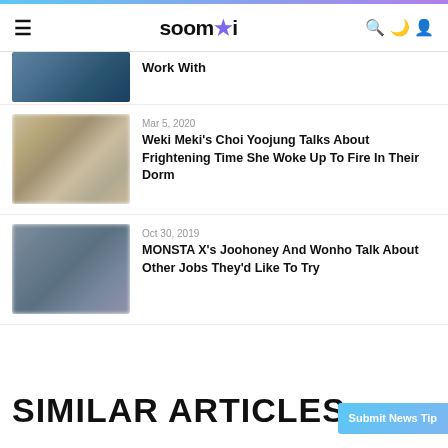soompi
[Figure (photo): Partial thumbnail image cut off at top, dark blue/teal toned photo]
Work With
[Figure (photo): Beige/warm toned blurred photo thumbnail]
Mar 5, 2020
Weki Meki's Choi Yoojung Talks About Frightening Time She Woke Up To Fire In Their Dorm
[Figure (photo): Gray/blue toned blurred photo thumbnail]
Oct 30, 2019
MONSTA X's Joohoney And Wonho Talk About Other Jobs They'd Like To Try
SIMILAR ARTICLES